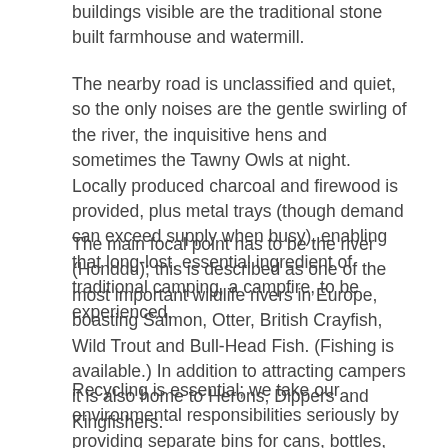buildings visible are the traditional stone built farmhouse and watermill.
The nearby road is unclassified and quiet, so the only noises are the gentle swirling of the river, the inquisitive hens and sometimes the Tawny Owls at night. Locally produced charcoal and firewood is provided, plus metal trays (though demand can exceed supply when busy), enabling that long-lost, essential ingredient of traditional camping, a campfire, to be experienced.
The main focal point has to be the river (Honddu); this is described as one of the most important wildlife rivers in Europe, boasting Salmon, Otter, British Crayfish, Wild Trout and Bull-Head Fish. (Fishing is available.) In addition to attracting campers it is also home to Herons, Dippers and Kingfishers.
Recycling is essential; we take our environmental responsibilities seriously by providing separate bins for cans, bottles, cardboard etc., and earnestly request that everyone take the time to separate their rubbish.